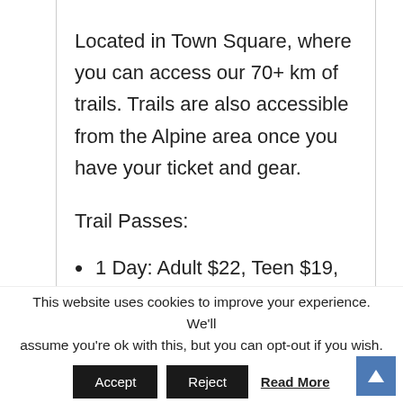Located in Town Square, where you can access our 70+ km of trails. Trails are also accessible from the Alpine area once you have your ticket and gear.
Trail Passes:
1 Day: Adult $22, Teen $19, Junior/Senior: $17
This website uses cookies to improve your experience. We'll assume you're ok with this, but you can opt-out if you wish.